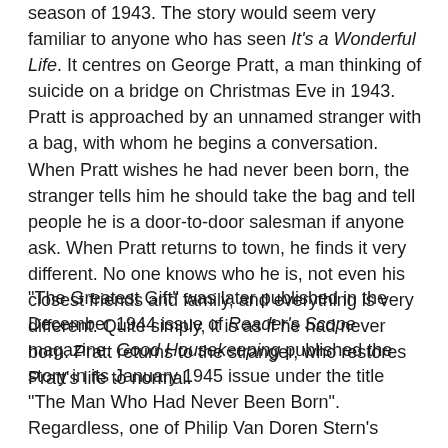season of 1943. The story would seem very familiar to anyone who has seen It's a Wonderful Life. It centres on George Pratt, a man thinking of suicide on a bridge on Christmas Eve in 1943. Pratt is approached by an unnamed stranger with a bag, with whom he begins a conversation. When Pratt wishes he had never been born, the stranger tells him he should take the bag and tell people he is a door-to-door salesman if anyone ask. When Pratt returns to town, he finds it very different. No one knows who he is, not even his closest friends and family, and everything is very different. Quite simply, it is as if he had never born. Pratt returns to the stranger, who restores Pratt's life to normal.
"The Greatest Gift" was later published in the December 1944 issue of Reader's Scope magazine. Good Housekeeping published the story in its January 1945 issue under the title "The Man Who Had Never Been Born". Regardless, one of Philip Van Doren Stern's original Christmas cards came to the attention of David Hempstead, a producer at RKO. Mr. Hempstead showed "The Greatest Gift" to Cary Grant's agent, and in April 1944 RKO bought the screen rights to the story. At that time the goal was to